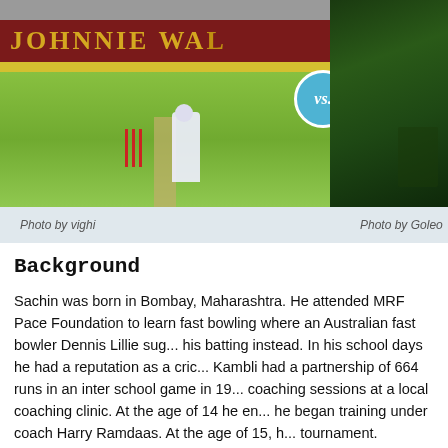[Figure (photo): Cricket match photo showing a batsman at the crease on a green field with 'JOHNNIE WAL...' banner in the background. A blue circular 'vs.' badge overlaps the right edge.]
Photo by vighi
Photo by Goleo
Background
Sachin was born in Bombay, Maharashtra. He attended MRF Pace Foundation to learn fast bowling where an Australian fast bowler Dennis Lillie suggested his batting instead. In his school days he had a reputation as a cricketer. Kambli had a partnership of 664 runs in an inter school game in 19... coaching sessions at a local coaching clinic. At the age of 14 he en... he began training under coach Harry Ramdaas. At the age of 15, h... tournament.
Career Achievements